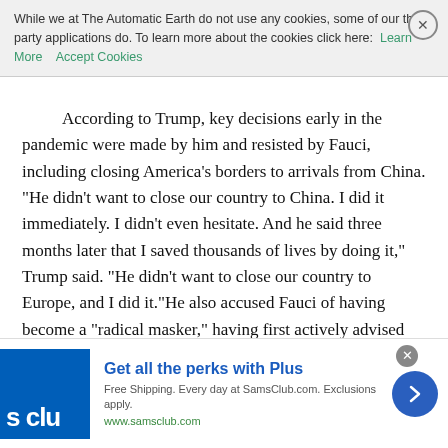While we at The Automatic Earth do not use any cookies, some of our third party applications do. To learn more about the cookies click here: Learn More  Accept Cookies
According to Trump, key decisions early in the pandemic were made by him and resisted by Fauci, including closing America's borders to arrivals from China. “He didn’t want to close our country to China. I did it immediately. I didn’t even hesitate. And he said three months later that I saved thousands of lives by doing it,” Trump said. “He didn’t want to close our country to Europe, and I did it.”He also accused Fauci of having become a “radical masker,” having first actively advised Americans not to mask up – a contradiction the expert’s critics have mentioned in light of his shifting stance on protecting public health. Asked what might prevent him from running again in 2024, Trump replied, “Well… I guess a bad call from a doctor or something, right?”
Read more
[Figure (other): Sam's Club advertisement banner: Get all the perks with Plus. Free Shipping. Every day at SamsClub.com. Exclusions apply. www.samsclub.com]